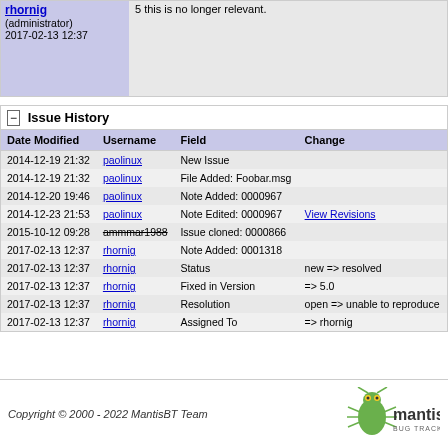rhornig (administrator) 2017-02-13 12:37 | 5 this is no longer relevant.
| Date Modified | Username | Field | Change |
| --- | --- | --- | --- |
| 2014-12-19 21:32 | paolinux | New Issue |  |
| 2014-12-19 21:32 | paolinux | File Added: Foobar.msg |  |
| 2014-12-20 19:46 | paolinux | Note Added: 0000967 |  |
| 2014-12-23 21:53 | paolinux | Note Edited: 0000967 | View Revisions |
| 2015-10-12 09:28 | ammmar1988 | Issue cloned: 0000866 |  |
| 2017-02-13 12:37 | rhornig | Note Added: 0001318 |  |
| 2017-02-13 12:37 | rhornig | Status | new => resolved |
| 2017-02-13 12:37 | rhornig | Fixed in Version | => 5.0 |
| 2017-02-13 12:37 | rhornig | Resolution | open => unable to reproduce |
| 2017-02-13 12:37 | rhornig | Assigned To | => rhornig |
Copyright © 2000 - 2022 MantisBT Team